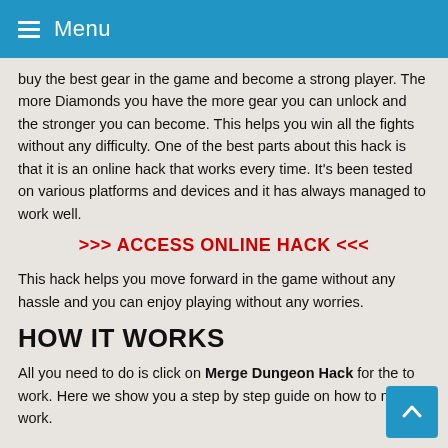Menu
buy the best gear in the game and become a strong player. The more Diamonds you have the more gear you can unlock and the stronger you can become. This helps you win all the fights without any difficulty. One of the best parts about this hack is that it is an online hack that works every time. It's been tested on various platforms and devices and it has always managed to work well.
>>> ACCESS ONLINE HACK <<<
This hack helps you move forward in the game without any hassle and you can enjoy playing without any worries.
HOW IT WORKS
All you need to do is click on Merge Dungeon Hack for the to work. Here we show you a step by step guide on how to make it work.